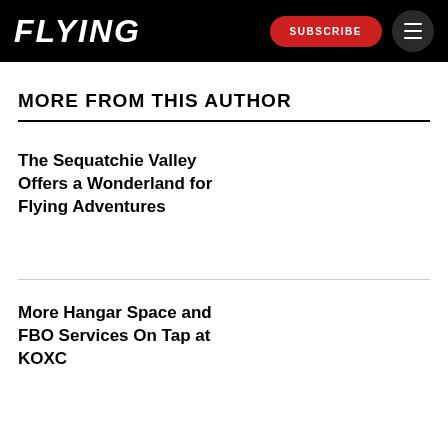FLYING | SUBSCRIBE | Menu
MORE FROM THIS AUTHOR
The Sequatchie Valley Offers a Wonderland for Flying Adventures
More Hangar Space and FBO Services On Tap at KOXC